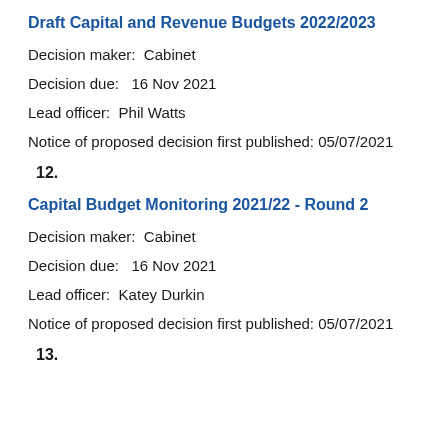Draft Capital and Revenue Budgets 2022/2023
Decision maker:  Cabinet
Decision due:   16 Nov 2021
Lead officer:  Phil Watts
Notice of proposed decision first published: 05/07/2021
12.
Capital Budget Monitoring 2021/22 - Round 2
Decision maker:  Cabinet
Decision due:   16 Nov 2021
Lead officer:  Katey Durkin
Notice of proposed decision first published: 05/07/2021
13.